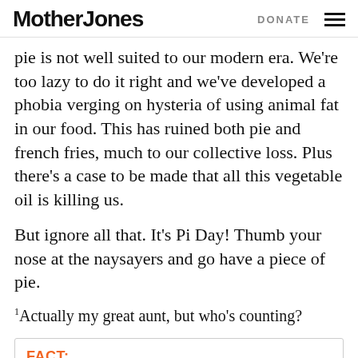Mother Jones | DONATE
pie is not well suited to our modern era. We're too lazy to do it right and we've developed a phobia verging on hysteria of using animal fat in our food. This has ruined both pie and french fries, much to our collective loss. Plus there's a case to be made that all this vegetable oil is killing us.
But ignore all that. It's Pi Day! Thumb your nose at the naysayers and go have a piece of pie.
1Actually my great aunt, but who's counting?
FACT: Today, reader support makes up about two-thirds of our budget, allows us to dig deep on stories that matter, and lets us keep our reporting free for everyone. If you value what you get from Mother Jones, please join us with a tax-deductible donation today so we can keep on doing the type of journalism 2024 demands.